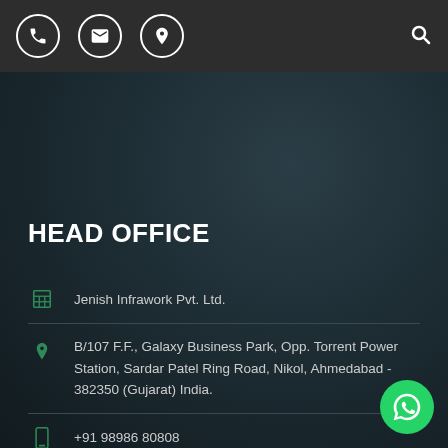[Figure (screenshot): Top navigation bar with phone, email, and location icons in circles on the left, and a search icon on the right, on a dark gray background.]
HEAD OFFICE
Jenish Infrawork Pvt. Ltd.
B/107 F.F., Galaxy Business Park, Opp. Torrent Power Station, Sardar Patel Ring Road, Nikol, Ahmedabad - 382350 (Gujarat) India.
+91 98986 80808
info@jenishinfra.com